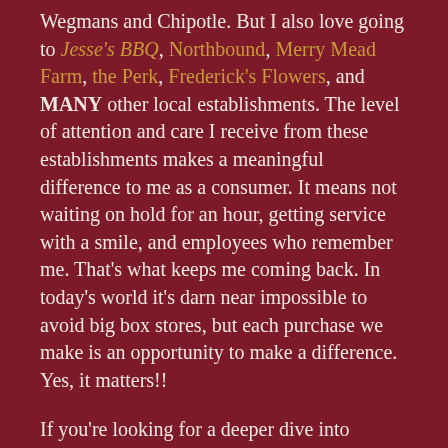Wegmans and Chipotle. But I also love going to Jesse's BBQ, Northbound, Merry Mead Farm, the Perk, Frederick's Flowers, and MANY other local establishments. The level of attention and care I receive from these establishments makes a meaningful difference to me as a consumer. It means not waiting on hold for an hour, getting service with a smile, and employees who remember me. That's what keeps me coming back. In today's world it's darn near impossible to avoid big box stores, but each purchase we make is an opportunity to make a difference. Yes, it matters!!
If you're looking for a deeper dive into buying local, please reference this article from Groom Style. They did a nice job dissecting the many ways buying local affects our communities.